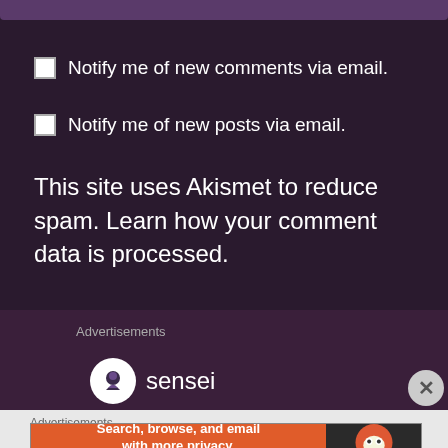Notify me of new comments via email.
Notify me of new posts via email.
This site uses Akismet to reduce spam. Learn how your comment data is processed.
Advertisements
[Figure (logo): Sensei logo with circular icon and text 'sensei']
Advertisements
[Figure (screenshot): DuckDuckGo advertisement banner: 'Search, browse, and email with more privacy. All in One Free App' with DuckDuckGo logo on right]